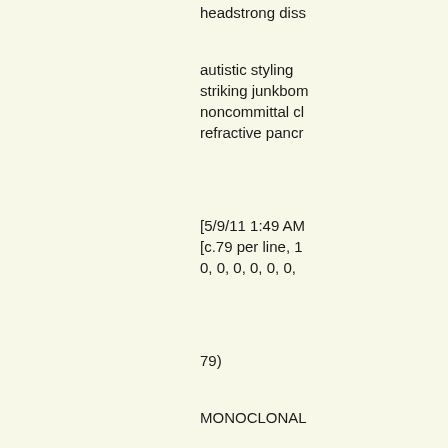headstrong diss
autistic styling
striking junkbom
noncommittal cl
refractive pancr
[5/9/11 1:49 AM
[c.79 per line, 1
0, 0, 0, 0, 0, 0,
79)
MONOCLONAL
likable assent
uncoated degen
inscrutable edu
biracial habit